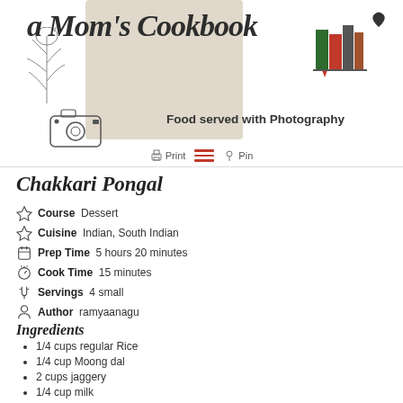[Figure (logo): A Mom's Cookbook logo with script text, leaf illustration, camera illustration, stacked books graphic, and tagline 'Food served with Photography']
Chakkari Pongal
Course  Dessert
Cuisine  Indian, South Indian
Prep Time  5 hours 20 minutes
Cook Time  15 minutes
Servings  4 small
Author  ramyaanagu
Ingredients
1/4 cups regular Rice
1/4 cup Moong dal
2 cups jaggery
1/4 cup milk
2 cups water